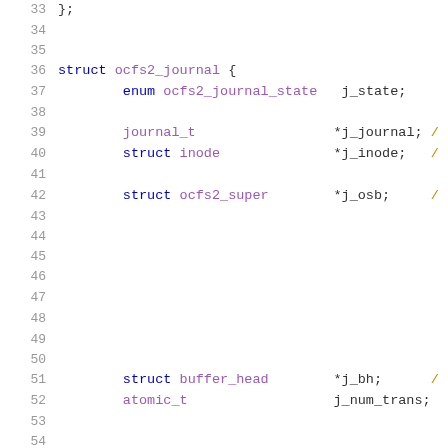[Figure (screenshot): Source code listing showing lines 33-54 of a C struct definition for ocfs2_journal, with syntax highlighting. Line numbers in gray on left, keywords in blue, type names in purple, field names in dark, comments in orange/yellow.]